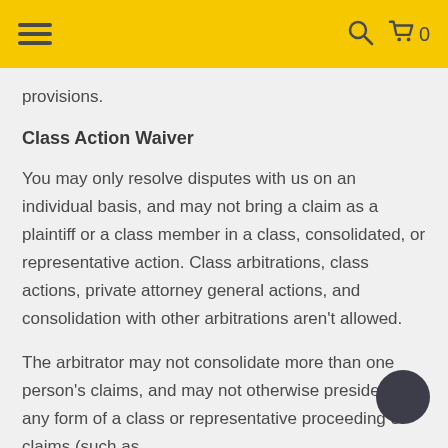Navigation header with hamburger menu, search icon, and cart (0)
provisions.
Class Action Waiver
You may only resolve disputes with us on an individual basis, and may not bring a claim as a plaintiff or a class member in a class, consolidated, or representative action. Class arbitrations, class actions, private attorney general actions, and consolidation with other arbitrations aren't allowed.
The arbitrator may not consolidate more than one person's claims, and may not otherwise preside over any form of a class or representative proceeding or claims (such as